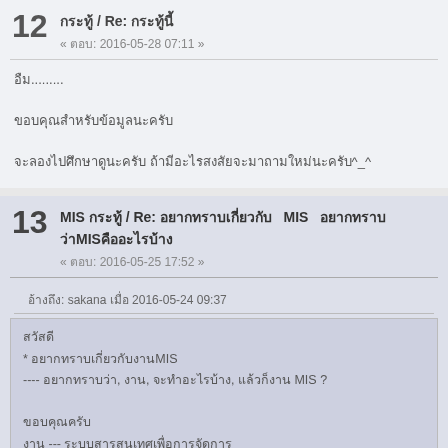12 กระทู้ / Re: กระทู้นี้
« ตอบ: 2016-05-28 07:11 »
อืม.........
ขอบคุณสำหรับข้อมูลนะครับ
จะลองไปศึกษาดูนะครับ ถ้ามีอะไรสงสัยจะมาถามใหม่นะครับ^_^
13 MIS กระทู้ / Re: อยากทราบเกี่ยวกับ  MIS  อยากทราบว่าMISคืออะไรบ้าง
« ตอบ: 2016-05-25 17:52 »
อ้างถึง: sakana เมื่อ 2016-05-24 09:37
สวัสดี
* อยากทราบเกี่ยวกับงานMIS
---- อยากทราบว่า, งาน, จะทำอะไรบ้าง, แล้วก็งาน MIS ?

ขอบคุณครับ
งาน --- ระบบสารสนเทศเพื่อการจัดการ

นักวิเคราะห์ ( You -- > คน )